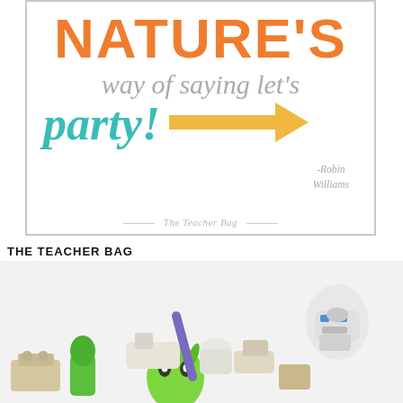NATURE'S way of saying let's party! -Robin Williams
The Teacher Bag
THE TEACHER BAG
[Figure (photo): A pile of colorful toy figures and LEGO pieces including a green alien, R2-D2 figure, and various other toys on a white background]